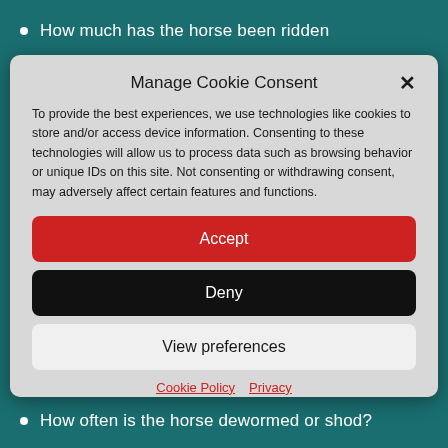How much has the horse been ridden
Manage Cookie Consent
To provide the best experiences, we use technologies like cookies to store and/or access device information. Consenting to these technologies will allow us to process data such as browsing behavior or unique IDs on this site. Not consenting or withdrawing consent, may adversely affect certain features and functions.
Accept
Deny
View preferences
Cookie Policy   Privacy
How often is the horse dewormed or shod?